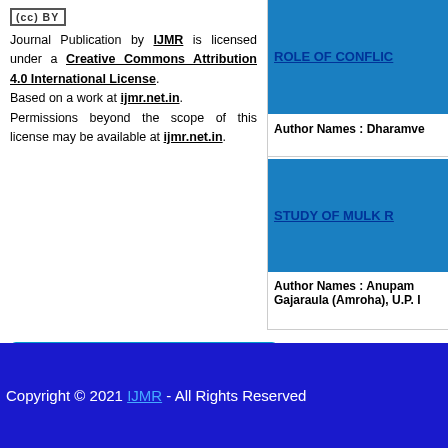[Figure (logo): Creative Commons CC BY license badge icon]
Journal Publication by IJMR is licensed under a Creative Commons Attribution 4.0 International License. Based on a work at ijmr.net.in. Permissions beyond the scope of this license may be available at ijmr.net.in.
ROLE OF CONFLIC (truncated, right column article title link)
Author Names : Dharamve (truncated)
STUDY OF MULK R (truncated, right column article title link)
Author Names : Anupam Gajaraula (Amroha), U.P. I (truncated)
[Figure (infographic): Journal Indexing & Listing banner with blue gradient background and orange arrow]
Copyright © 2021 IJMR - All Rights Reserved